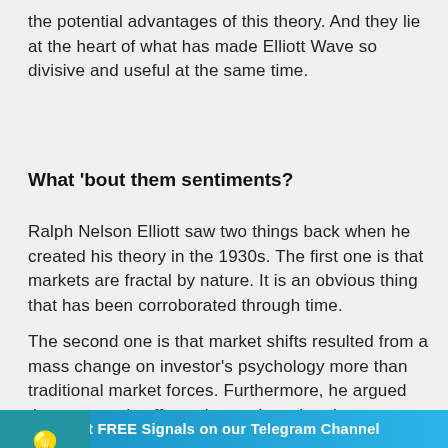the potential advantages of this theory. And they lie at the heart of what has made Elliott Wave so divisive and useful at the same time.
What 'bout them sentiments?
Ralph Nelson Elliott saw two things back when he created his theory in the 1930s. The first one is that markets are fractal by nature. It is an obvious thing that has been corroborated through time.
The second one is that market shifts resulted from a mass change on investor's psychology more than traditional market forces. Furthermore, he argued that news only affects the market when investors were willing to change, and these changes come in
Get FREE Signals on our Telegram Channel